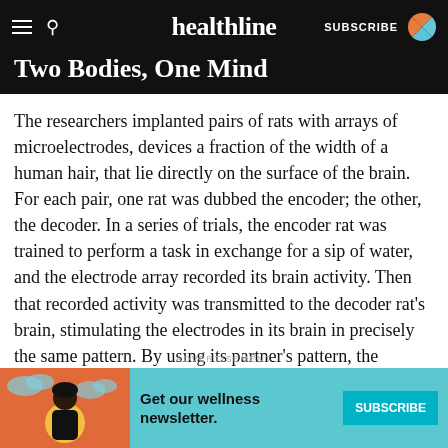healthline | SUBSCRIBE
Two Bodies, One Mind
The researchers implanted pairs of rats with arrays of microelectrodes, devices a fraction of the width of a human hair, that lie directly on the surface of the brain. For each pair, one rat was dubbed the encoder; the other, the decoder. In a series of trials, the encoder rat was trained to perform a task in exchange for a sip of water, and the electrode array recorded its brain activity. Then that recorded activity was transmitted to the decoder rat’s brain, stimulating the electrodes in its brain in precisely the same pattern. By using its partner’s pattern, the decoder rat was able to make
ADVERTISEMENT
Get our wellness newsletter.